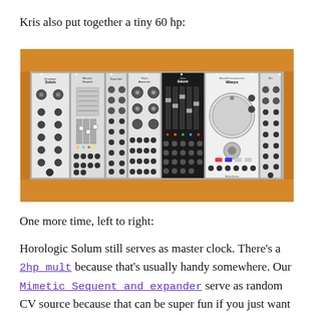Kris also put together a tiny 60 hp:
[Figure (photo): Photo of a Eurorack modular synthesizer in a wooden case with approximately 60hp of modules including Horologic Solum, 2hp mult, Mimetic Sequent expander, Xaoc Batumi, and Mutable Instruments Warps among others.]
One more time, left to right:
Horologic Solum still serves as master clock. There’s a 2hp mult because that’s usually handy somewhere. Our Mimetic Sequent and expander serve as random CV source because that can be super fun if you just want to explore. The Xaoc Batumi is so incredibly